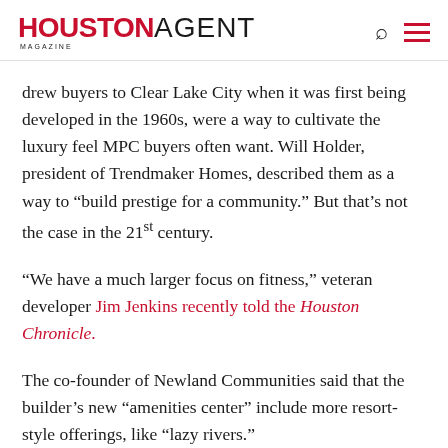HOUSTON AGENT MAGAZINE
drew buyers to Clear Lake City when it was first being developed in the 1960s, were a way to cultivate the luxury feel MPC buyers often want. Will Holder, president of Trendmaker Homes, described them as a way to “build prestige for a community.” But that’s not the case in the 21st century.
“We have a much larger focus on fitness,” veteran developer Jim Jenkins recently told the Houston Chronicle.
The co-founder of Newland Communities said that the builder’s new “amenities center” include more resort-style offerings, like “lazy rivers.”